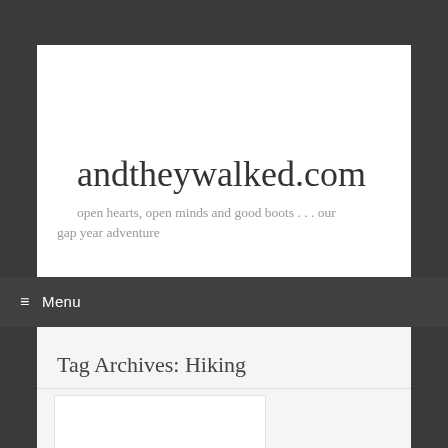andtheywalked.com
open hearts, open minds and good boots . . . our gap year adventure
≡ Menu
Tag Archives: Hiking